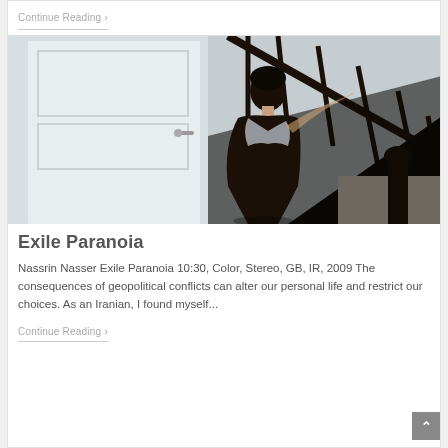Continue Reading ›
[Figure (photo): A woman in a dark dress standing by a white door and dark wooden staircase railing in a dimly lit interior space.]
Exile Paranoia
Nassrin Nasser Exile Paranoia 10:30, Color, Stereo, GB, IR, 2009 The consequences of geopolitical conflicts can alter our personal life and restrict our choices. As an Iranian, I found myself...
Continue Reading ›